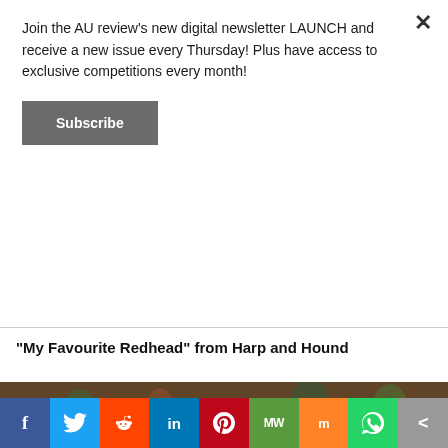Join the AU review's new digital newsletter LAUNCH and receive a new issue every Thursday! Plus have access to exclusive competitions every month!
Subscribe
“My Favourite Redhead” from Harp and Hound
[Figure (photo): Blurred bar scene showing wine glasses hanging from a rack above and bottles in the foreground, including a bottle with a red foil top.]
f  Twitter  Reddit  in  Pinterest  MW  Mix  WhatsApp  Share